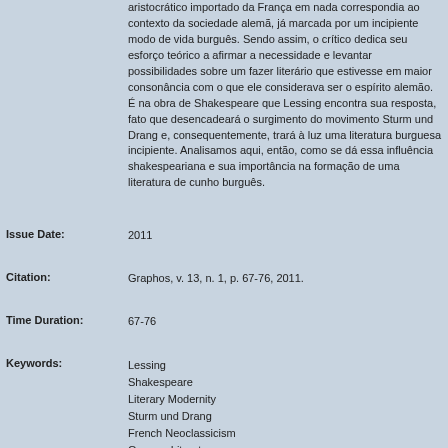aristocrático importado da França em nada correspondia ao contexto da sociedade alemã, já marcada por um incipiente modo de vida burguês. Sendo assim, o crítico dedica seu esforço teórico a afirmar a necessidade e levantar possibilidades sobre um fazer literário que estivesse em maior consonância com o que ele considerava ser o espírito alemão. É na obra de Shakespeare que Lessing encontra sua resposta, fato que desencadeará o surgimento do movimento Sturm und Drang e, consequentemente, trará à luz uma literatura burguesa incipiente. Analisamos aqui, então, como se dá essa influência shakespeariana e sua importância na formação de uma literatura de cunho burguês.
Issue Date: 2011
Citation: Graphos, v. 13, n. 1, p. 67-76, 2011.
Time Duration: 67-76
Keywords: Lessing
Shakespeare
Literary Modernity
Sturm und Drang
French Neoclassicism
German Literature